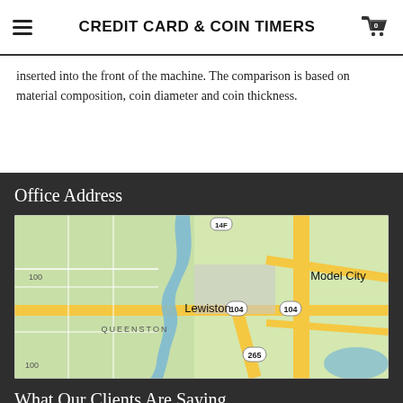CREDIT CARD & COIN TIMERS
inserted into the front of the machine. The comparison is based on material composition, coin diameter and coin thickness.
Office Address
[Figure (map): Google Maps showing Lewiston, Queenston, Model City area with roads 104 and 265 visible, and a river running through the area.]
What Our Clients Are Saying